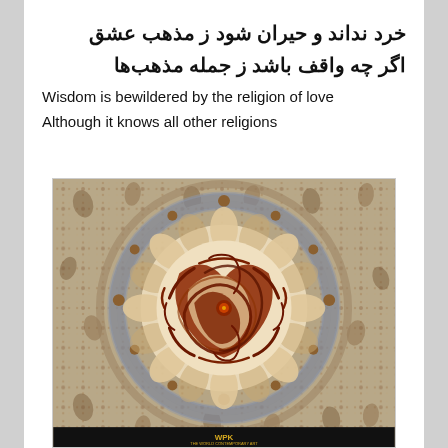خرد نداند و حیران شود ز مذهب عشق
اگر چه واقف باشد ز جمله مذهب‌ها
Wisdom is bewildered by the religion of love
Although it knows all other religions
[Figure (photo): An ornate Persian/Islamic carpet or rug with intricate floral and geometric patterns. The central medallion features dark calligraphy on a cream/beige background surrounded by concentric decorative borders. The overall color palette is earth tones — brown, beige, tan and grey. A dark footer strip at the bottom contains a small logo.]